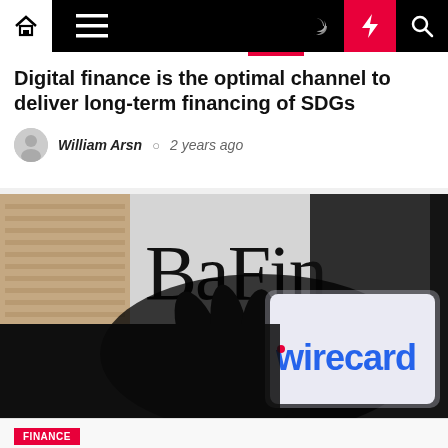Navigation bar with home, menu, moon, bolt, search icons
Digital finance is the optimal channel to deliver long-term financing of SDGs
William Arsn  2 years ago
[Figure (photo): BaFin logo in background with a hand holding a smartphone displaying the Wirecard logo]
Finance